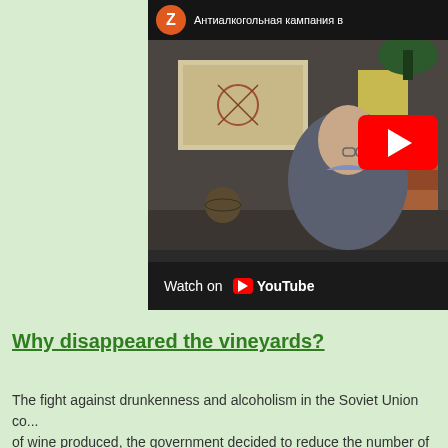[Figure (screenshot): YouTube video thumbnail showing a woman in a blazer sitting in an office setting with a map on the wall. The video title in Russian reads 'Антиалкогольная кампания в' (Anti-alcohol campaign in...). A red YouTube play button is overlaid. Below is a 'Watch on YouTube' bar.]
Why disappeared the vineyards?
The fight against drunkenness and alcoholism in the Soviet Union co... of wine produced, the government decided to reduce the number of vi...